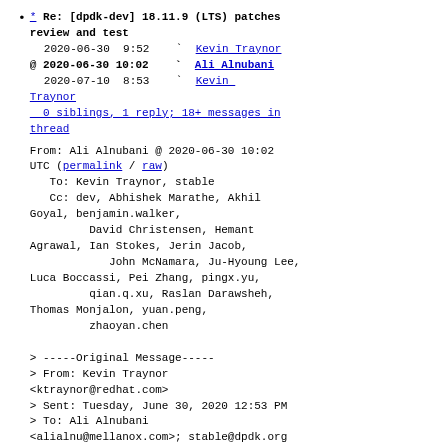* Re: [dpdk-dev] 18.11.9 (LTS) patches review and test
  2020-06-30  9:52   ` Kevin Traynor
@ 2020-06-30 10:02   ` Ali Alnubani
  2020-07-10  8:53   ` Kevin Traynor
  0 siblings, 1 reply; 18+ messages in thread
From: Ali Alnubani @ 2020-06-30 10:02 UTC (permalink / raw)
   To: Kevin Traynor, stable
   Cc: dev, Abhishek Marathe, Akhil Goyal, benjamin.walker,
           David Christensen, Hemant Agrawal, Ian Stokes, Jerin Jacob,
               John McNamara, Ju-Hyoung Lee,
   Luca Boccassi, Pei Zhang, pingx.yu,
               qian.q.xu, Raslan Darawsheh,
   Thomas Monjalon, yuan.peng,
               zhaoyan.chen

> -----Original Message-----
> From: Kevin Traynor <ktraynor@redhat.com>
> Sent: Tuesday, June 30, 2020 12:53 PM
> To: Ali Alnubani <alialnu@mellanox.com>; stable@dpdk.org
> Cc: dev@dpdk.org; Abhishek Marathe <Abhishek.Marathe@microsoft.com>;